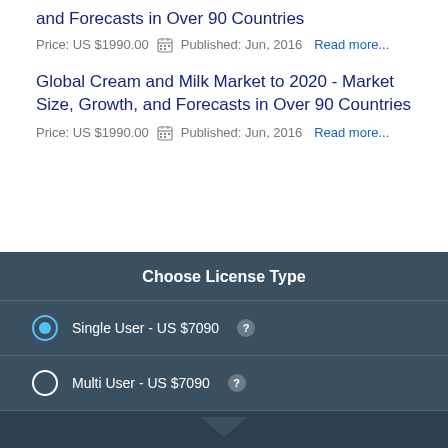and Forecasts in Over 90 Countries
Price: US $1990.00   Published: Jun, 2016   Read more...
Global Cream and Milk Market to 2020 - Market Size, Growth, and Forecasts in Over 90 Countries
Price: US $1990.00   Published: Jun, 2016   Read more...
Choose License Type
Single User - US $7090
Multi User - US $7090
Buy Now